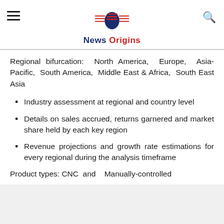News Origins
Regional bifurcation: North America, Europe, Asia-Pacific, South America, Middle East & Africa, South East Asia
Industry assessment at regional and country level
Details on sales accrued, returns garnered and market share held by each key region
Revenue projections and growth rate estimations for every regional during the analysis timeframe
Product types: CNC and  Manually-controlled